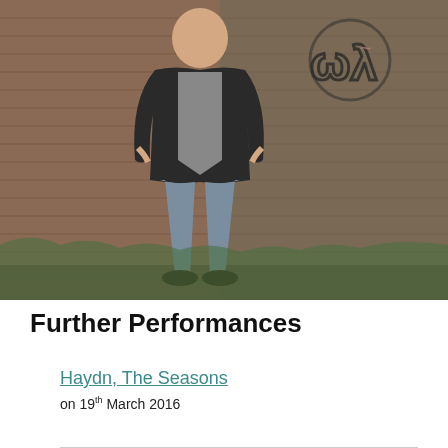[Figure (photo): A man in a black blazer and jeans leans against a red brick wall with graffiti, outdoors, casual pose with hands in pockets.]
Further Performances
Haydn, The Seasons
on 19th March 2016